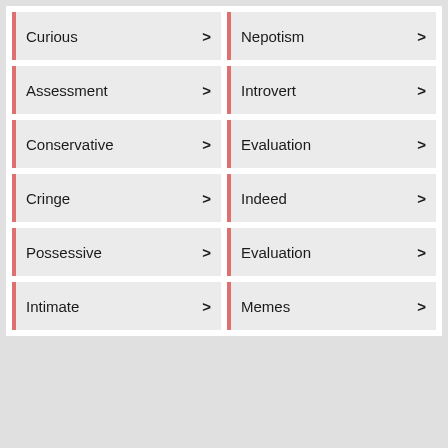Curious >
Nepotism >
Assessment >
Introvert >
Conservative >
Evaluation >
Cringe >
Indeed >
Possessive >
Evaluation >
Intimate >
Memes >